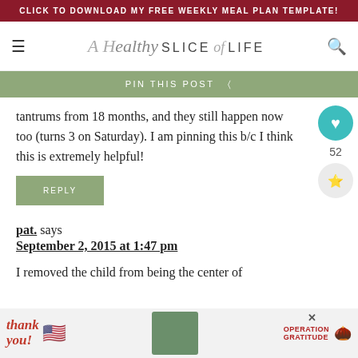CLICK TO DOWNLOAD MY FREE WEEKLY MEAL PLAN TEMPLATE!
[Figure (logo): A Healthy Slice of LIFE blog logo with script and sans-serif text]
PIN THIS POST
tantrums from 18 months, and they still happen now too (turns 3 on Saturday). I am pinning this b/c I think this is extremely helpful!
REPLY
pat. says
September 2, 2015 at 1:47 pm
I removed the child from being the center of att
[Figure (photo): Advertisement banner: Thank You Operation Gratitude with flag and healthcare workers photo]